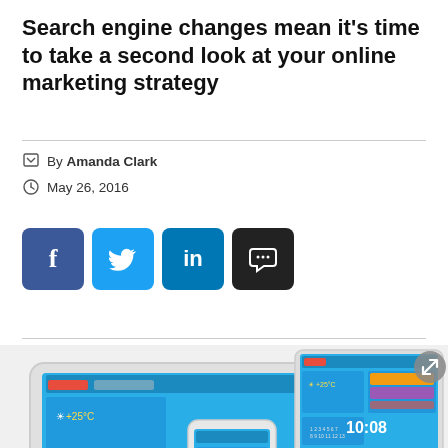Search engine changes mean it's time to take a second look at your online marketing strategy
By Amanda Clark
May 26, 2016
[Figure (infographic): Social media share buttons: Facebook (blue), Twitter (light blue), LinkedIn (blue), comment/chat (black)]
[Figure (photo): Photo of a tablet, smartphone, and laptop all displaying colourful weather app interface with time 10:08]